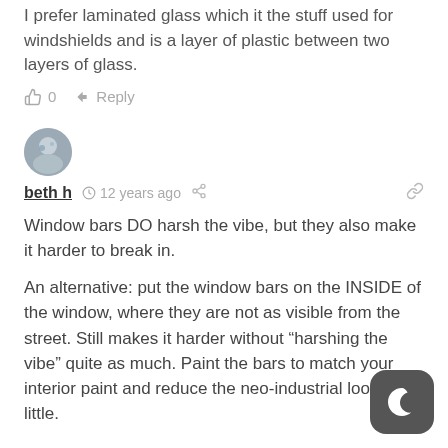I prefer laminated glass which it the stuff used for windshields and is a layer of plastic between two layers of glass.
0   Reply
[Figure (other): User avatar circular profile photo for beth h]
beth h  12 years ago  [share icon]  [link icon]
Window bars DO harsh the vibe, but they also make it harder to break in.
An alternative: put the window bars on the INSIDE of the window, where they are not as visible from the street. Still makes it harder without “harshing the vibe” quite as much. Paint the bars to match your interior paint and reduce the neo-industrial look a little.
[Figure (other): Dark mode toggle button icon (crescent moon) in bottom right corner]